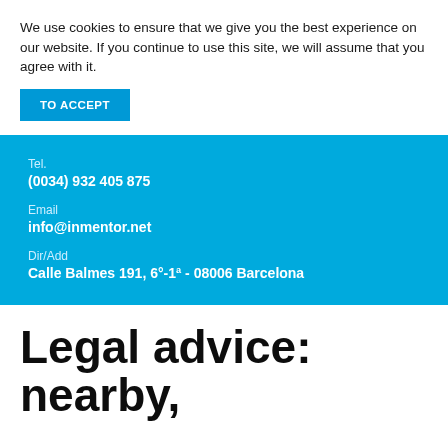We use cookies to ensure that we give you the best experience on our website. If you continue to use this site, we will assume that you agree with it.
TO ACCEPT
Tel.
(0034) 932 405 875
Email
info@inmentor.net
Dir/Add
Calle Balmes 191, 6°-1ª - 08006 Barcelona
Legal advice: nearby,